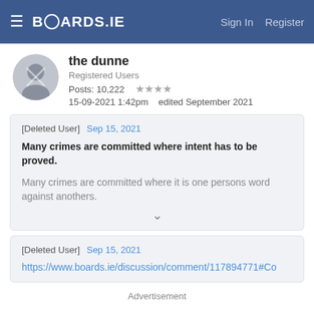BOARDS.IE  Sign In  Register
the dunne
Registered Users
Posts: 10,222 ★★★★
15-09-2021 1:42pm  edited September 2021
[Deleted User]  Sep 15, 2021
Many crimes are committed where intent has to be proved.
Many crimes are committed where it is one persons word against anothers.
[Deleted User]  Sep 15, 2021
https://www.boards.ie/discussion/comment/117894771#Co
Advertisement